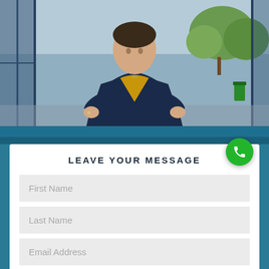[Figure (photo): Woman in navy blazer and yellow shirt standing with hands on hips outdoors in front of glass doors and trees]
LEAVE YOUR MESSAGE
First Name
Last Name
Email Address